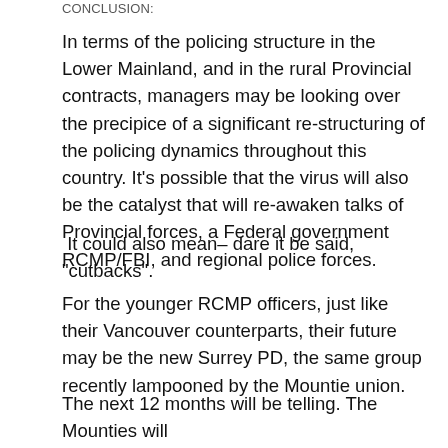CONCLUSION:
In terms of the policing structure in the Lower Mainland, and in the rural Provincial contracts, managers may be looking over the precipice of a significant re-structuring of the policing dynamics throughout this country. It's possible that the virus will also be the catalyst that will re-awaken talks of Provincial forces, a Federal government RCMP/FBI, and regional police forces.
It could also mean– dare it be said,  “cutbacks”.
For the younger RCMP officers, just like their Vancouver counterparts, their future may be the new Surrey PD, the same group recently lampooned by the Mountie union.
The next 12 months will be telling. The Mounties will